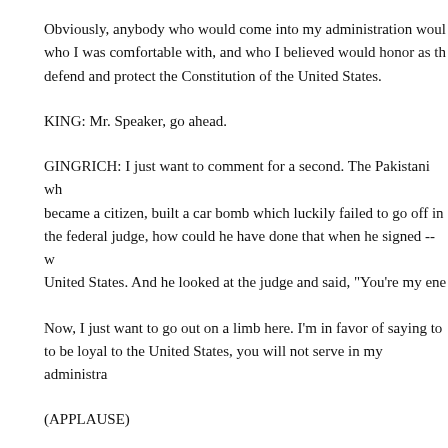Obviously, anybody who would come into my administration would be somebody who I was comfortable with, and who I believed would honor as their first duty to defend and protect the Constitution of the United States.
KING: Mr. Speaker, go ahead.
GINGRICH: I just want to comment for a second. The Pakistani who became a citizen, built a car bomb which luckily failed to go off in front of the federal judge, how could he have done that when he signed -- when he came to the United States. And he looked at the judge and said, "You're my ene
Now, I just want to go out on a limb here. I'm in favor of saying to people, if you're not going to be loyal to the United States, you will not serve in my administra
(APPLAUSE)